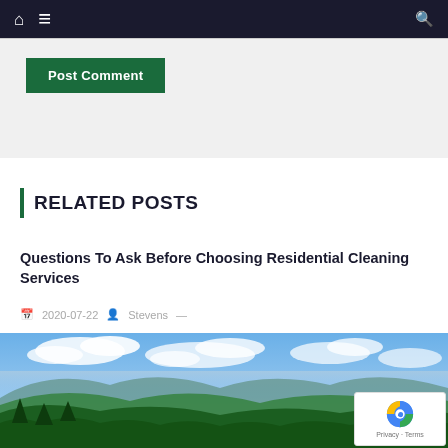Navigation bar with home icon, menu icon, and search icon
Post Comment
RELATED POSTS
Questions To Ask Before Choosing Residential Cleaning Services
2020-07-22  Stevens —
[Figure (photo): Landscape photo of green mountains and hills under a blue sky with white clouds]